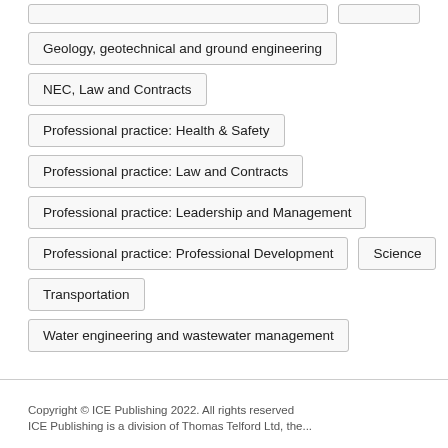Geology, geotechnical and ground engineering
NEC, Law and Contracts
Professional practice: Health & Safety
Professional practice: Law and Contracts
Professional practice: Leadership and Management
Professional practice: Professional Development
Science
Transportation
Water engineering and wastewater management
Copyright © ICE Publishing 2022. All rights reserved
ICE Publishing is a division of Thomas Telford Ltd, the...